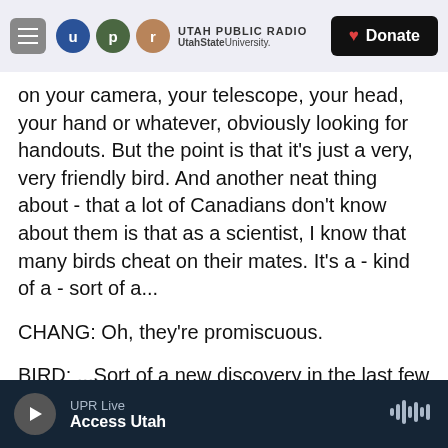UTAH PUBLIC RADIO | UtahState University | Donate
on your camera, your telescope, your head, your hand or whatever, obviously looking for handouts. But the point is that it's just a very, very friendly bird. And another neat thing about - that a lot of Canadians don't know about them is that as a scientist, I know that many birds cheat on their mates. It's a - kind of a - sort of a...
CHANG: Oh, they're promiscuous.
BIRD: ...Sort of a new discovery in the last few decades. But gray jays apparently don't do that because they don't leave our country in the wintertime like all the other birds do, including the
UPR Live | Access Utah